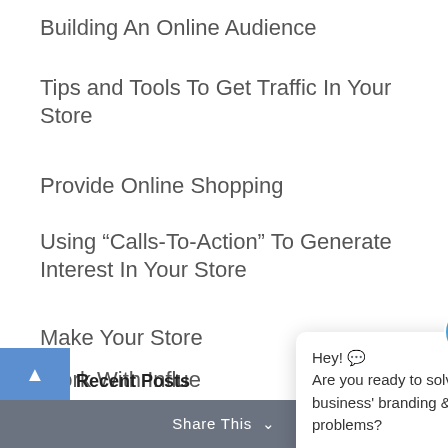Building An Online Audience
Tips and Tools To Get Traffic In Your Store
Provide Online Shopping
Using “Calls-To-Action” To Generate Interest In Your Store
Make Your Store…
Work With Influe…
Utilize Your Onlir…
[Figure (screenshot): Chat popup widget with avatar icon, close button (x), and message: Hey! Are you ready to solve your business' branding & marketing problems?]
Recent Posts
Share This ∨